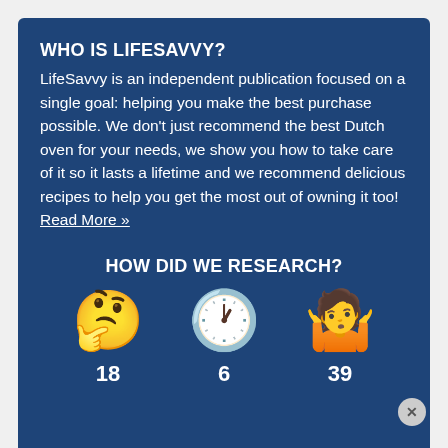WHO IS LIFESAVVY?
LifeSavvy is an independent publication focused on a single goal: helping you make the best purchase possible. We don't just recommend the best Dutch oven for your needs, we show you how to take care of it so it lasts a lifetime and we recommend delicious recipes to help you get the most out of owning it too! Read More »
HOW DID WE RESEARCH?
[Figure (infographic): Three emoji icons: thinking face, clock, and person shrugging, with numbers 18, 6, and 39 below them respectively]